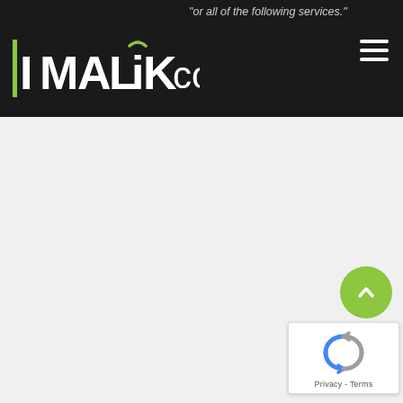or all of the following services.
[Figure (logo): IMALiKco logo with green vertical bar on left, green arc accent over the 'i' in Malik, white uppercase bold text MALIK followed by lighter 'co']
[Figure (other): Hamburger menu icon (three white horizontal lines) in top right of dark navigation bar]
[Figure (other): Green circular scroll-to-top button with white upward chevron arrow, positioned bottom right]
[Figure (other): Google reCAPTCHA badge widget showing recycling-arrow logo and 'Privacy - Terms' text]